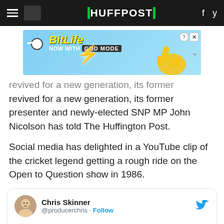HUFFPOST
[Figure (photo): BitLife advertisement banner: 'NOW WITH GOD MODE' on a light blue background with a hand pointing graphic]
revived for a new generation, its former presenter and newly-elected SNP MP John Nicolson has told The Huffington Post.
Social media has delighted in a YouTube clip of the cricket legend getting a rough ride on the Open to Question show in 1986.
Chris Skinner @producerchris · Follow
Ian Botham taking shit from Scottish